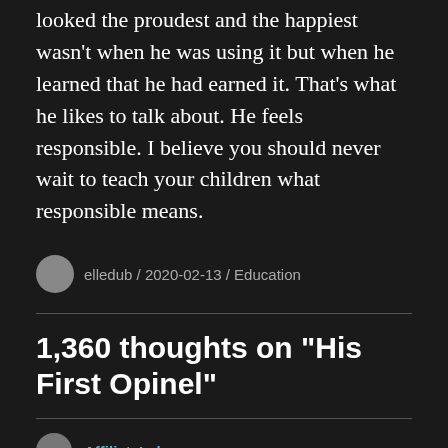looked the proudest and the happiest wasn't when he was using it but when he learned that he had earned it. That's what he likes to talk about. He feels responsible. I believe you should never wait to teach your children what responsible means.
elledub / 2020-02-13 / Education
1,360 thoughts on “His First Opinel”
AffiliateLabz